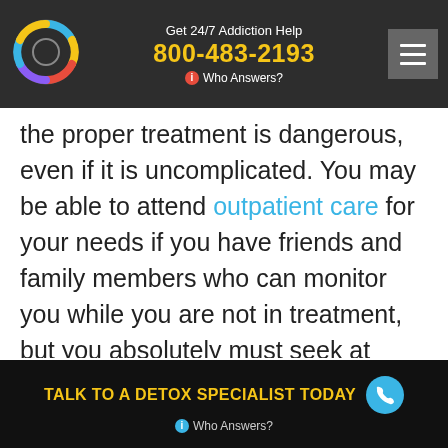Get 24/7 Addiction Help 800-483-2193 Who Answers?
the proper treatment is dangerous, even if it is uncomplicated. You may be able to attend outpatient care for your needs if you have friends and family members who can monitor you while you are not in treatment, but you absolutely must seek at least some sort of professional care for your detox from Damason P.
Damason P Detox Treatment
TALK TO A DETOX SPECIALIST TODAY  Who Answers?